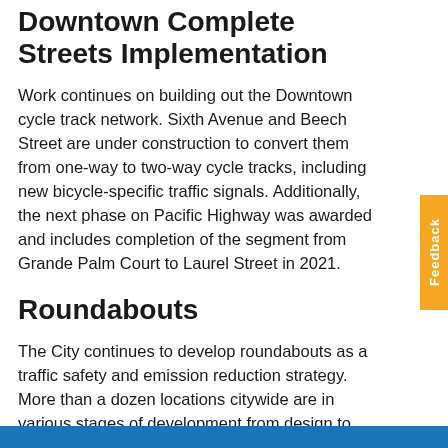Downtown Complete Streets Implementation
Work continues on building out the Downtown cycle track network. Sixth Avenue and Beech Street are under construction to convert them from one-way to two-way cycle tracks, including new bicycle-specific traffic signals. Additionally, the next phase on Pacific Highway was awarded and includes completion of the segment from Grande Palm Court to Laurel Street in 2021.
Roundabouts
The City continues to develop roundabouts as a traffic safety and emission reduction strategy. More than a dozen locations citywide are in various stages of development from design to construction.